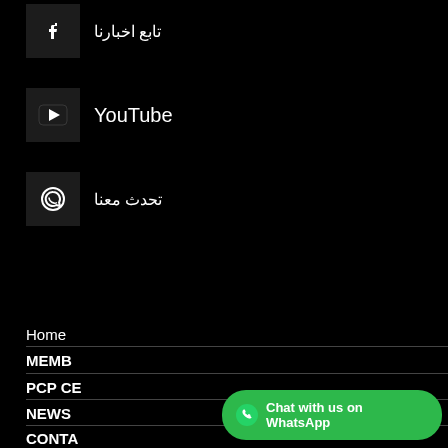تابع اخبارنا
YouTube
تحدث معنا
Home
MEMB
PCP CE
NEWS
CONTA
Hi there! Click one of our representatives below and we will get back to you as soon as possible.
GTB USA
Chat with us on WhatsApp